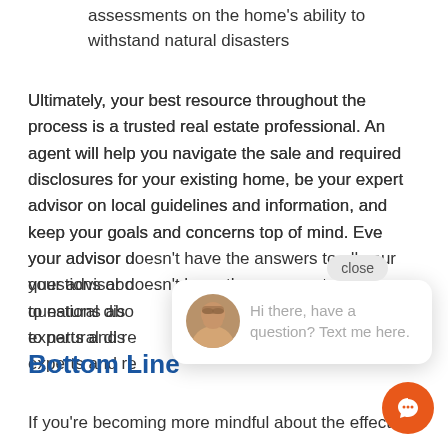assessments on the home's ability to withstand natural disasters
Ultimately, your best resource throughout the process is a trusted real estate professional. An agent will help you navigate the sale and required disclosures for your existing home, be your expert advisor on local guidelines and information, and keep your goals and concerns top of mind. Even if your advisor doesn't have the answers to all your questions about... to natural dis... experts and re...
[Figure (screenshot): Chat popup overlay with a female agent avatar and text 'Hi there, have a question? Text me here.' with a close button and orange chat bubble button]
Bottom Line
If you're becoming more mindful about the effects